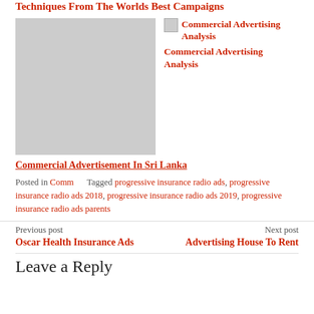Techniques From The Worlds Best Campaigns
[Figure (photo): Commercial advertisement flyers in Sri Lanka showing Sinhala text and Customer Care Officer ad]
[Figure (photo): Commercial Advertising Analysis thumbnail image]
Commercial Advertising Analysis
Commercial Advertisement In Sri Lanka
Posted in Comm   Tagged progressive insurance radio ads, progressive insurance radio ads 2018, progressive insurance radio ads 2019, progressive insurance radio ads parents
Previous post
Oscar Health Insurance Ads
Next post
Advertising House To Rent
Leave a Reply